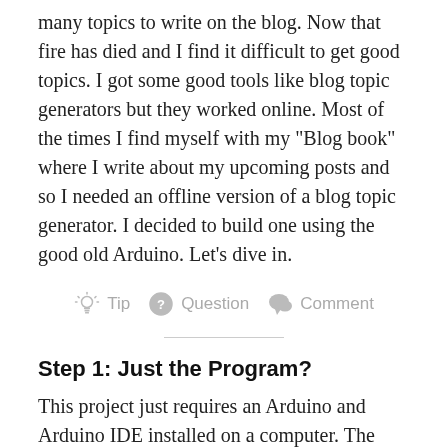many topics to write on the blog. Now that fire has died and I find it difficult to get good topics. I got some good tools like blog topic generators but they worked online. Most of the times I find myself with my "Blog book" where I write about my upcoming posts and so I needed an offline version of a blog topic generator. I decided to build one using the good old Arduino. Let's dive in.
Tip   Question   Comment
Step 1: Just the Program?
This project just requires an Arduino and Arduino IDE installed on a computer. The program that I wrote for this project is not efficient but it gets the job done. The program is based on Arduino's ability to generate